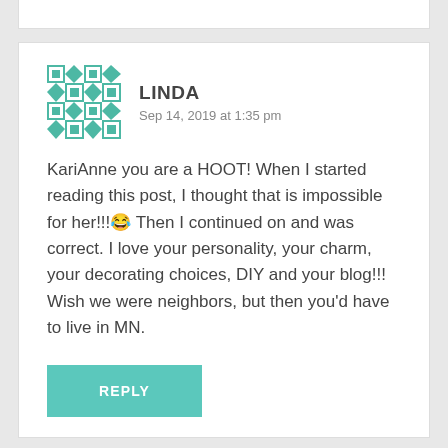[Figure (illustration): Green geometric/diamond pattern avatar icon for user Linda]
LINDA
Sep 14, 2019 at 1:35 pm
KariAnne you are a HOOT! When I started reading this post, I thought that is impossible for her!!!😂 Then I continued on and was correct. I love your personality, your charm, your decorating choices, DIY and your blog!!! Wish we were neighbors, but then you'd have to live in MN.
REPLY